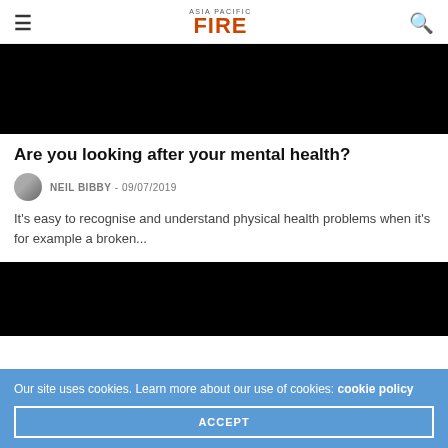ASIA PACIFIC FIRE
[Figure (photo): Dark/black hero image for article]
Are you looking after your mental health?
NEIL BIBBY - 09/07/2019
It's easy to recognise and understand physical health problems when it's for example a broken...
[Figure (photo): Dark/black image for second article]
Our site uses cookies. Learn more about our use of cookies: cookie policy
ACCEPT